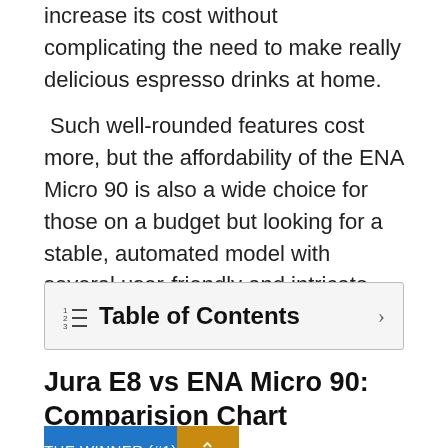increase its cost without complicating the need to make really delicious espresso drinks at home.
Such well-rounded features cost more, but the affordability of the ENA Micro 90 is also a wide choice for those on a budget but looking for a stable, automated model with several user-friendly and intricate features.
Table of Contents
Jura E8 vs ENA Micro 90: Comparision Chart
| THE WINNER (#1) |
| --- |